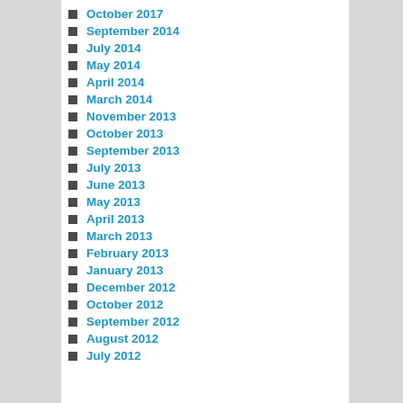October 2017
September 2014
July 2014
May 2014
April 2014
March 2014
November 2013
October 2013
September 2013
July 2013
June 2013
May 2013
April 2013
March 2013
February 2013
January 2013
December 2012
October 2012
September 2012
August 2012
July 2012